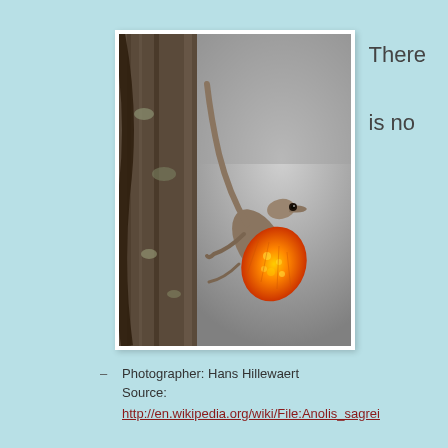[Figure (photo): Close-up photo of a brown anole lizard (Anolis sagrei) clinging to a tree trunk with its orange and yellow dewlap extended]
There is no
– Photographer: Hans Hillewaert
Source:
http://en.wikipedia.org/wiki/File:Anolis_sagrei